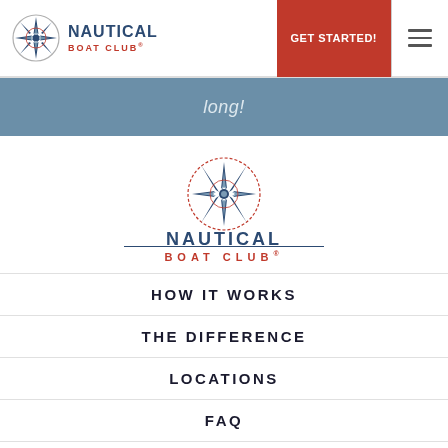Nautical Boat Club – GET STARTED! [hamburger menu]
long!
[Figure (logo): Nautical Boat Club logo: compass rose above the text NAUTICAL BOAT CLUB]
HOW IT WORKS
THE DIFFERENCE
LOCATIONS
FAQ
PRIVACY POLICY
START A FRANCHISE